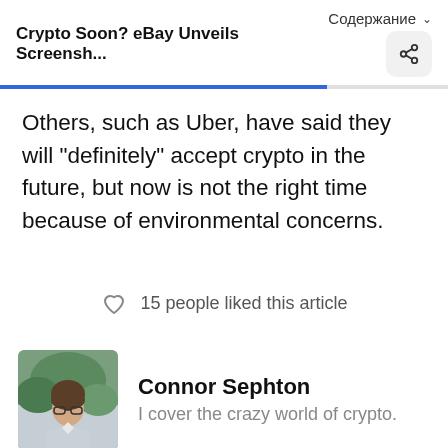Crypto Soon? eBay Unveils Screensh...    Содержание
Others, such as Uber, have said they will "definitely" accept crypto in the future, but now is not the right time because of environmental concerns.
15 people liked this article
Connor Sephton
I cover the crazy world of crypto.